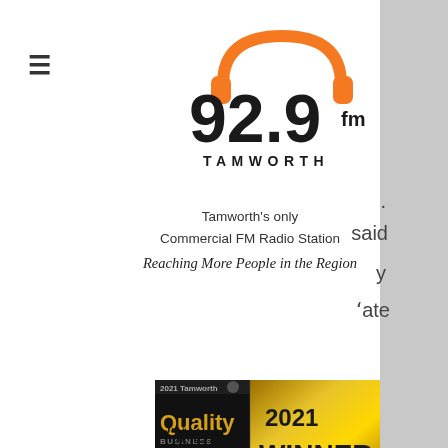[Figure (logo): 92.9 FM Tamworth radio station logo with orange headphones icon]
Tamworth's only
Commercial FM Radio Station
Reaching More People in the Region
[Figure (other): 2021 Quality Business Awards - 2021 WINNER banner]
Enforcing this sense of isolation, and the impact it has on those in family violence situations is something that we are aware of, and unfortunately it is one of the safety mechanisms of the environment at the moment," she said.